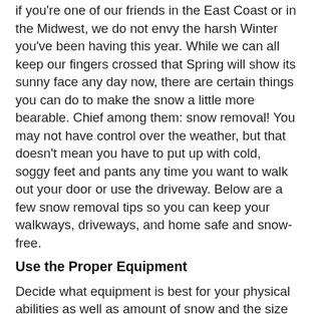if you're one of our friends in the East Coast or in the Midwest, we do not envy the harsh Winter you've been having this year. While we can all keep our fingers crossed that Spring will show its sunny face any day now, there are certain things you can do to make the snow a little more bearable. Chief among them: snow removal! You may not have control over the weather, but that doesn't mean you have to put up with cold, soggy feet and pants any time you want to walk out your door or use the driveway. Below are a few snow removal tips so you can keep your walkways, driveways, and home safe and snow-free.
Use the Proper Equipment
Decide what equipment is best for your physical abilities as well as amount of snow and the size and type of your property. A manual shovel may be appropriate if you are healthy and the snowfalls in your area are fairly light; or if you only have a small pathway to clear up. An electric shovel, on the other hand, is a great choice for people with physical limitations and small properties in areas with light snowfalls.